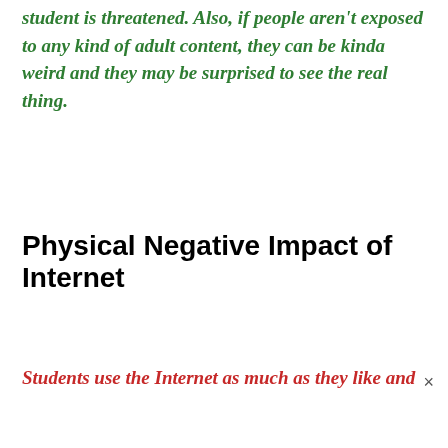student is threatened. Also, if people aren't exposed to any kind of adult content, they can be kinda weird and they may be surprised to see the real thing.
Physical Negative Impact of Internet
Students use the Internet as much as they like and